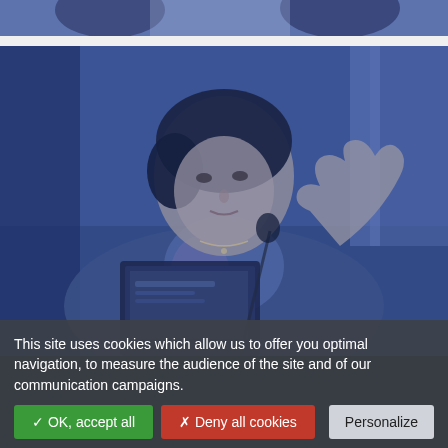[Figure (photo): Partial view of people at a conference or event, blue-toned photograph cropped at the top of the page]
[Figure (photo): Blue-toned photograph of a woman speaking at a conference, gesturing with one hand, with a laptop and microphone visible in front of her]
This site uses cookies which allow us to offer you optimal navigation, to measure the audience of the site and of our communication campaigns.
✓ OK, accept all
✗ Deny all cookies
Personalize